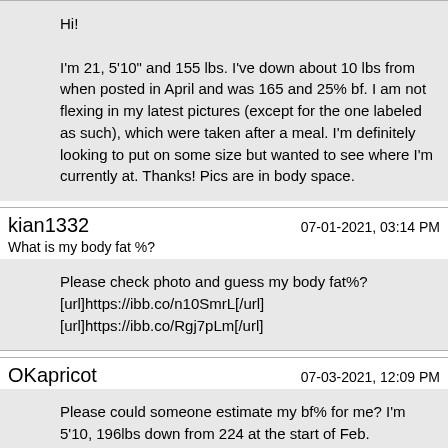Hi!

I'm 21, 5'10" and 155 lbs. I've down about 10 lbs from when posted in April and was 165 and 25% bf. I am not flexing in my latest pictures (except for the one labeled as such), which were taken after a meal. I'm definitely looking to put on some size but wanted to see where I'm currently at. Thanks! Pics are in body space.
kian1332   07-01-2021, 03:14 PM
What is my body fat %?
Please check photo and guess my body fat%?
[url]https://ibb.co/n10SmrL[/url]
[url]https://ibb.co/Rgj7pLm[/url]
OKapricot   07-03-2021, 12:09 PM
Please could someone estimate my bf% for me? I'm 5'10, 196lbs down from 224 at the start of Feb.
Measurements and a calculator estimate around 27%